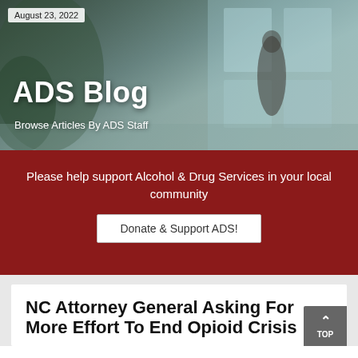August 23, 2022
ADS Blog
Browse Articles By ADS Staff
Please help support Alcohol & Drug Services in your local community
Donate & Support ADS!
NC Attorney General Asking For More Effort To End Opioid Crisis